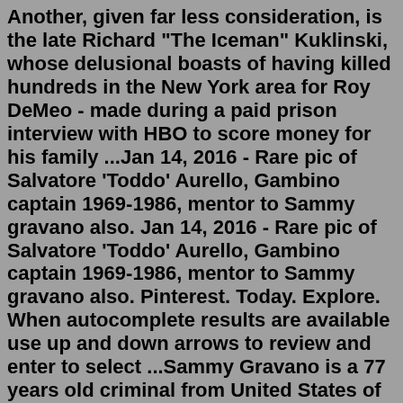Another, given far less consideration, is the late Richard "The Iceman" Kuklinski, whose delusional boasts of having killed hundreds in the New York area for Roy DeMeo - made during a paid prison interview with HBO to score money for his family ...Jan 14, 2016 - Rare pic of Salvatore 'Toddo' Aurello, Gambino captain 1969-1986, mentor to Sammy gravano also. Jan 14, 2016 - Rare pic of Salvatore 'Toddo' Aurello, Gambino captain 1969-1986, mentor to Sammy gravano also. Pinterest. Today. Explore. When autocomplete results are available use up and down arrows to review and enter to select ...Sammy Gravano is a 77 years old criminal from United States of America from Brooklyn, New York. He was born on March 12, 1945 in Brooklyn, New York as Salvatore Gravano. Sammy Gravano, American mobster. Birth Place: Brooklyn, New York. Country: United States. Birthday: March 12, 1945.Age Explored Sammy The Bull is as of now 76 years old, as he was born on March 12, 1945, in New York City, United States. As the most youthful of three kids (and